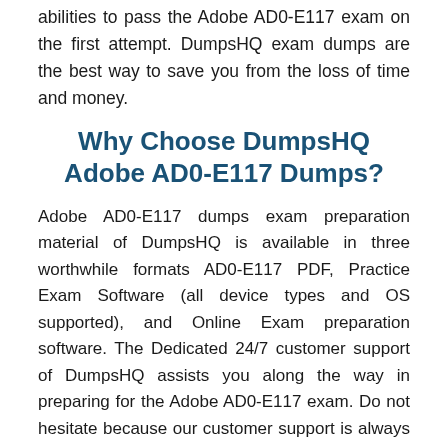abilities to pass the Adobe AD0-E117 exam on the first attempt. DumpsHQ exam dumps are the best way to save you from the loss of time and money.
Why Choose DumpsHQ Adobe AD0-E117 Dumps?
Adobe AD0-E117 dumps exam preparation material of DumpsHQ is available in three worthwhile formats AD0-E117 PDF, Practice Exam Software (all device types and OS supported), and Online Exam preparation software. The Dedicated 24/7 customer support of DumpsHQ assists you along the way in preparing for the Adobe AD0-E117 exam. Do not hesitate because our customer support is always there to answer your Adobe AD0-E117 dumps-related queries. The free online demo facility of DumpsHQ enables you to check every feature of our products before the purchase. DumpsHQ offers 3 months of free